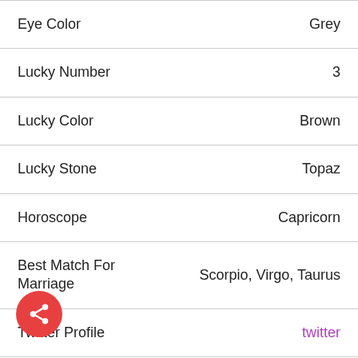| Attribute | Value |
| --- | --- |
| Eye Color | Grey |
| Lucky Number | 3 |
| Lucky Color | Brown |
| Lucky Stone | Topaz |
| Horoscope | Capricorn |
| Best Match For Marriage | Scorpio, Virgo, Taurus |
| Twitter Profile | twitter |
| Instagram Profile | instagram |